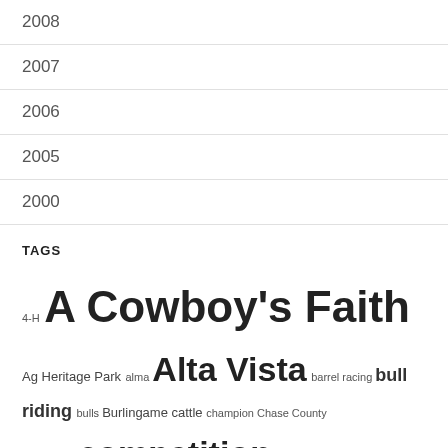2008
2007
2006
2005
2000
TAGS
4-H A Cowboy's Faith Ag Heritage Park alma Alta Vista barrel racing bull riding bulls Burlingame cattle champion Chase County community competition Cottonwood Falls Council Grove cowboy family farming Farm Profit Conference Flint Hills Flint Hills Blowout For